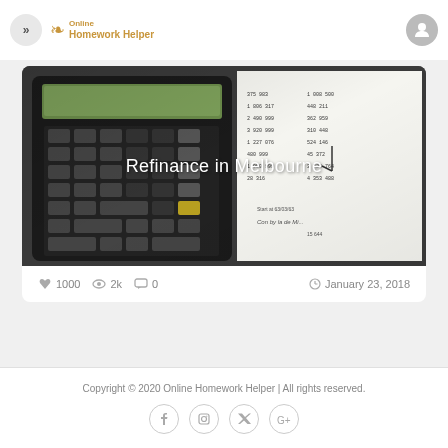Online Homework Helper
[Figure (photo): A calculator placed on top of financial documents with handwritten numbers, with the text 'Refinance in Melbourne' overlaid in white]
👍 1000  👁 2k  💬 0  🕐 January 23, 2018
Copyright © 2020 Online Homework Helper | All rights reserved.